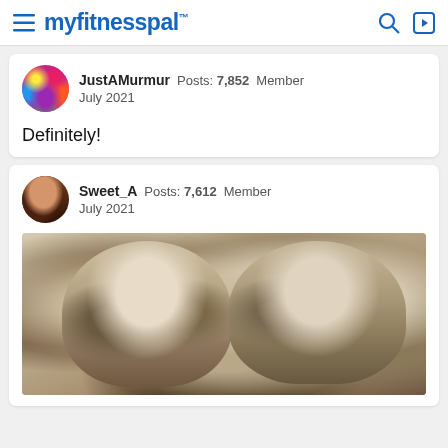myfitnesspal
JustAMurmur  Posts: 7,852  Member
July 2021
Definitely!
Sweet_A  Posts: 7,612  Member
July 2021
[Figure (photo): Cartoon/anime-style illustration of two blonde girls hugging, rendered in sepia/muted tones with large expressive eyes]